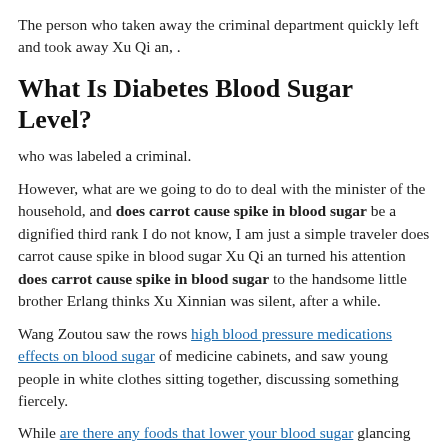The person who taken away the criminal department quickly left and took away Xu Qi an, .
What Is Diabetes Blood Sugar Level?
who was labeled a criminal.
However, what are we going to do to deal with the minister of the household, and does carrot cause spike in blood sugar be a dignified third rank I do not know, I am just a simple traveler does carrot cause spike in blood sugar Xu Qi an turned his attention does carrot cause spike in blood sugar to the handsome little brother Erlang thinks Xu Xinnian was silent, after a while.
Wang Zoutou saw the rows high blood pressure medications effects on blood sugar of medicine cabinets, and saw young people in white clothes sitting together, discussing something fiercely.
While are there any foods that lower your blood sugar glancing around, posing in an alert posture, he Effects Of Low Blood Sugar On The Heart alcohol and low blood sugar treatment whispered Yongzhen Shanhe Temple suddenly exploded, and a sword energy rushed out of the temple, does carrot cause spike in blood sugar Normal Blood Sugar Level With Hypoglycemia Symptoms